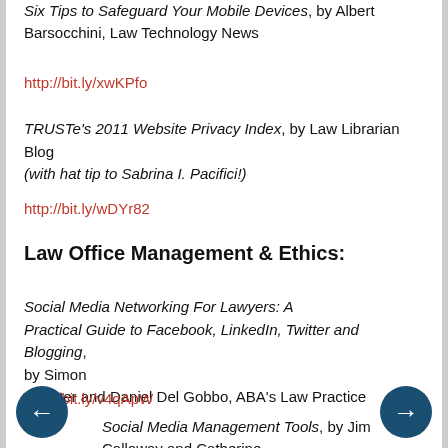Six Tips to Safeguard Your Mobile Devices, by Albert Barsocchini, Law Technology News
http://bit.ly/xwKPfo
TRUSTe's 2011 Website Privacy Index, by Law Librarian Blog (with hat tip to Sabrina I. Pacifici!)
http://bit.ly/wDYr82
Law Office Management & Ethics:
Social Media Networking For Lawyers: A Practical Guide to Facebook, LinkedIn, Twitter and Blogging, by Simon Chester and Daniel Del Gobbo, ABA's Law Practice
http://bit.ly/v4qApW
Social Media Management Tools, by Jim Calloway and Catherine